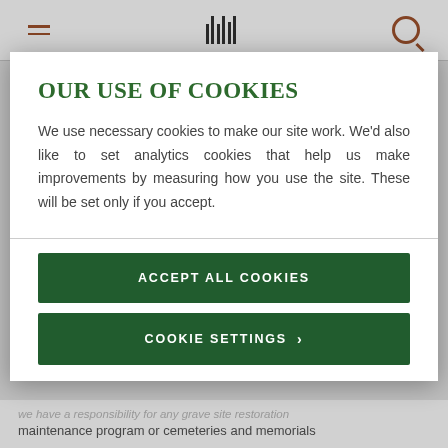[Figure (screenshot): Website navigation bar with hamburger menu icon (brown), barcode-style center logo, and search icon (brown) on white background]
OUR USE OF COOKIES
We use necessary cookies to make our site work. We'd also like to set analytics cookies that help us make improvements by measuring how you use the site. These will be set only if you accept.
ACCEPT ALL COOKIES
COOKIE SETTINGS >
maintenance program or cemeteries and memorials